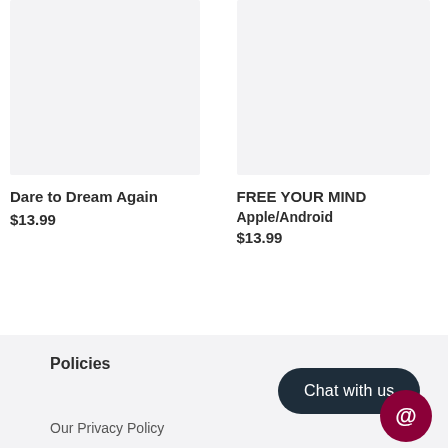[Figure (photo): Product image placeholder left - light grey rectangle]
[Figure (photo): Product image placeholder right - light grey rectangle]
Dare to Dream Again
$13.99
FREE YOUR MIND
Apple/Android
$13.99
Policies
Our Privacy Policy